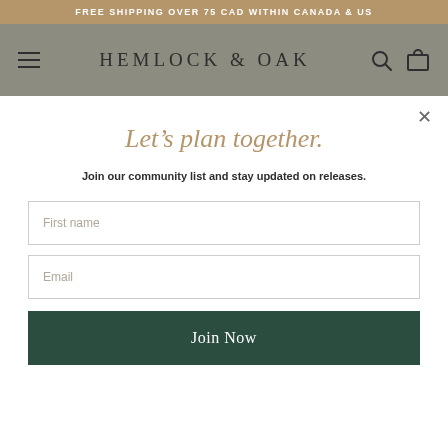FREE SHIPPING OVER 75 CAD WITHIN CANADA & US
[Figure (screenshot): Hemlock & Oak navigation bar with hamburger menu, brand name, search icon, and cart icon on a muted gray-green background]
Let's plan together.
Join our community list and stay updated on releases.
First name
Email
Join Now